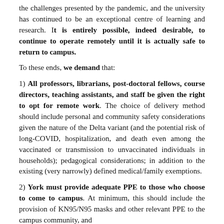the challenges presented by the pandemic, and the university has continued to be an exceptional centre of learning and research. It is entirely possible, indeed desirable, to continue to operate remotely until it is actually safe to return to campus.
To these ends, we demand that:
1) All professors, librarians, post-doctoral fellows, course directors, teaching assistants, and staff be given the right to opt for remote work. The choice of delivery method should include personal and community safety considerations given the nature of the Delta variant (and the potential risk of long-COVID, hospitalization, and death even among the vaccinated or transmission to unvaccinated individuals in households); pedagogical considerations; in addition to the existing (very narrowly) defined medical/family exemptions.
2) York must provide adequate PPE to those who choose to come to campus. At minimum, this should include the provision of KN95/N95 masks and other relevant PPE to the campus community, and